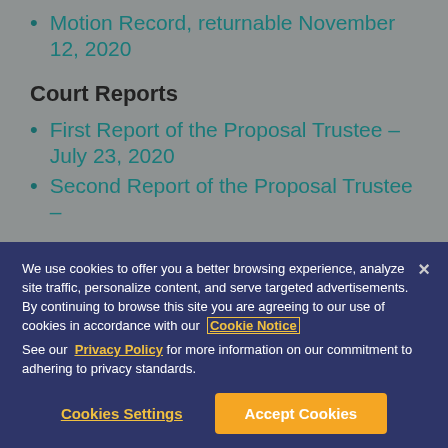Motion Record, returnable November 12, 2020
Court Reports
First Report of the Proposal Trustee – July 23, 2020
Second Report of the Proposal Trustee –
We use cookies to offer you a better browsing experience, analyze site traffic, personalize content, and serve targeted advertisements. By continuing to browse this site you are agreeing to our use of cookies in accordance with our Cookie Notice
See our Privacy Policy for more information on our commitment to adhering to privacy standards.
Cookies Settings
Accept Cookies